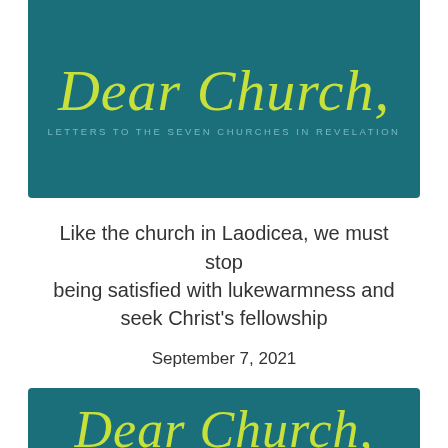[Figure (illustration): Teal/dark cyan banner with script text 'Dear Church,' in lime green and subtitle 'LETTERS TO THE SEVEN CHURCHES IN REVELATION' in muted teal]
Like the church in Laodicea, we must stop being satisfied with lukewarmness and seek Christ's fellowship
September 7, 2021
[Figure (illustration): Bottom teal banner with partial script text 'Dear Church,' in lime green, cropped at bottom of page]